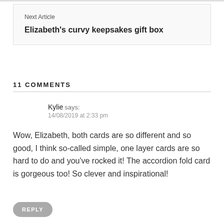Next Article
Elizabeth's curvy keepsakes gift box
11 COMMENTS
Kylie says:
14/08/2019 at 2:33 pm
Wow, Elizabeth, both cards are so different and so good, I think so-called simple, one layer cards are so hard to do and you've rocked it! The accordion fold card is gorgeous too! So clever and inspirational!
REPLY